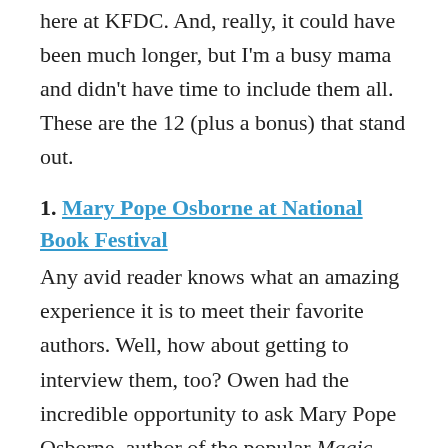here at KFDC. And, really, it could have been much longer, but I'm a busy mama and didn't have time to include them all. These are the 12 (plus a bonus) that stand out.
1. Mary Pope Osborne at National Book Festival
Any avid reader knows what an amazing experience it is to meet their favorite authors. Well, how about getting to interview them, too? Owen had the incredible opportunity to ask Mary Pope Osborne, author of the popular Magic Treehouse series, a few questions at the National Book Festival in September. What a thrill for him as a huge fan — and for me as a proud mama.